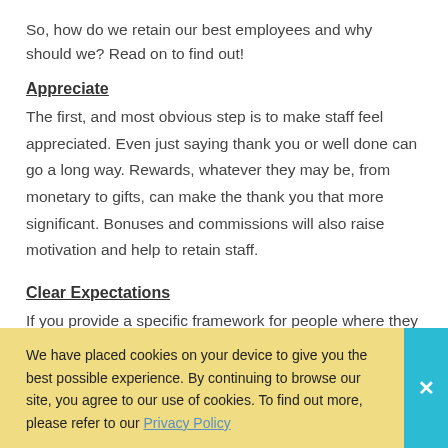So, how do we retain our best employees and why should we? Read on to find out!
Appreciate
The first, and most obvious step is to make staff feel appreciated. Even just saying thank you or well done can go a long way. Rewards, whatever they may be, from monetary to gifts, can make the thank you that more significant. Bonuses and commissions will also raise motivation and help to retain staff.
Clear Expectations
If you provide a specific framework for people where they
We have placed cookies on your device to give you the best possible experience. By continuing to browse our site, you agree to our use of cookies. To find out more, please refer to our Privacy Policy